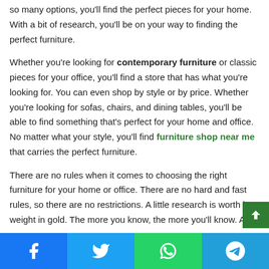so many options, you'll find the perfect pieces for your home. With a bit of research, you'll be on your way to finding the perfect furniture.
Whether you're looking for contemporary furniture or classic pieces for your office, you'll find a store that has what you're looking for. You can even shop by style or by price. Whether you're looking for sofas, chairs, and dining tables, you'll be able to find something that's perfect for your home and office. No matter what your style, you'll find furniture shop near me that carries the perfect furniture.
There are no rules when it comes to choosing the right furniture for your home or office. There are no hard and fast rules, so there are no restrictions. A little research is worth its weight in gold. The more you know, the more you'll know. A
Facebook | Twitter | WhatsApp | Telegram